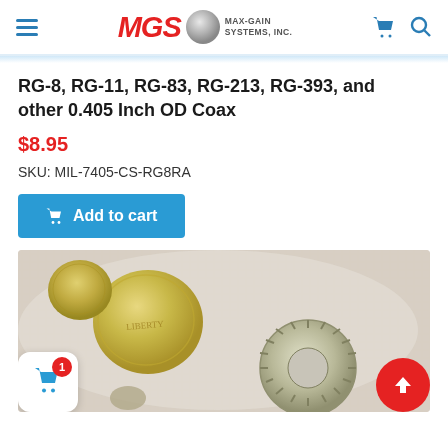MGS MAX-GAIN SYSTEMS, INC.
RG-8, RG-11, RG-83, RG-213, RG-393, and other 0.405 Inch OD Coax
$8.95
SKU: MIL-7405-CS-RG8RA
Add to cart
[Figure (photo): Product photo showing coins and a serrated lock washer on a white background, illustrating size reference for the 0.405 inch OD coax connector accessory.]